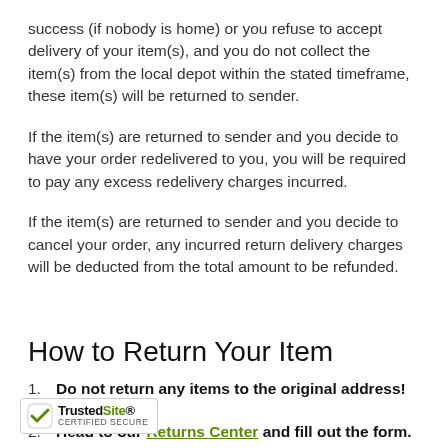success (if nobody is home) or you refuse to accept delivery of your item(s), and you do not collect the item(s) from the local depot within the stated timeframe, these item(s) will be returned to sender.
If the item(s) are returned to sender and you decide to have your order redelivered to you, you will be required to pay any excess redelivery charges incurred.
If the item(s) are returned to sender and you decide to cancel your order, any incurred return delivery charges will be deducted from the total amount to be refunded.
How to Return Your Item
Do not return any items to the original address!
Head to our Returns Center and fill out the form. Further instructions will be provided.
I... rning an item outside of our 30-day Returns N... store credit, please email